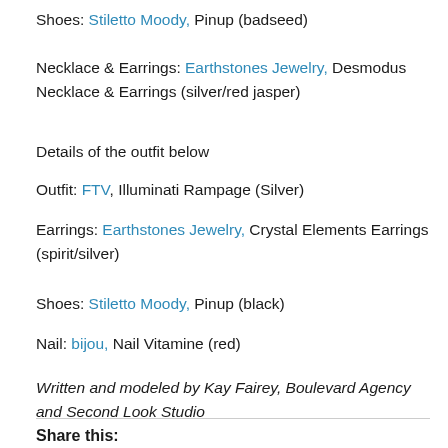Shoes: Stiletto Moody, Pinup (badseed)
Necklace & Earrings: Earthstones Jewelry, Desmodus Necklace & Earrings (silver/red jasper)
Details of the outfit below
Outfit: FTV, Illuminati Rampage (Silver)
Earrings: Earthstones Jewelry, Crystal Elements Earrings (spirit/silver)
Shoes: Stiletto Moody, Pinup (black)
Nail: bijou, Nail Vitamine (red)
Written and modeled by Kay Fairey, Boulevard Agency and Second Look Studio
Share this: